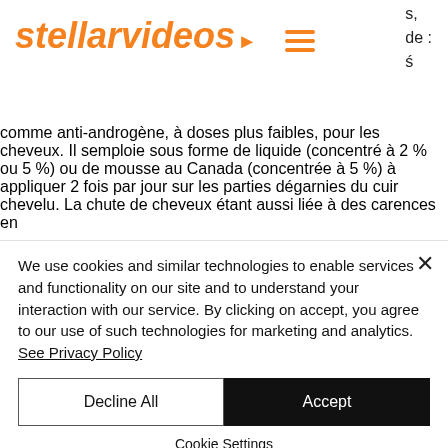stellarvideos
s,
de :
ś
comme anti-androgène, à doses plus faibles, pour les cheveux. Il semploie sous forme de liquide (concentré à 2 % ou 5 %) ou de mousse au Canada (concentrée à 5 %) à appliquer 2 fois par jour sur les parties dégarnies du cuir chevelu. La chute de cheveux étant aussi liée à des carences en
We use cookies and similar technologies to enable services and functionality on our site and to understand your interaction with our service. By clicking on accept, you agree to our use of such technologies for marketing and analytics. See Privacy Policy
Decline All
Accept
Cookie Settings